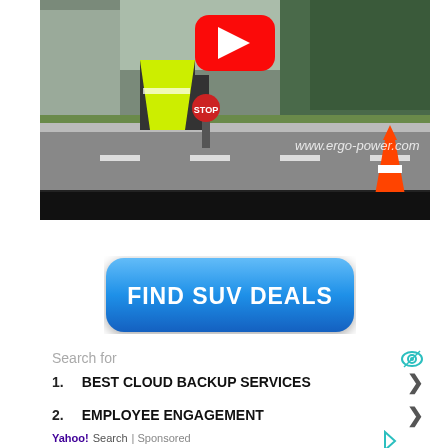[Figure (screenshot): YouTube video thumbnail showing a road worker in a hi-vis vest holding a stop/slow paddle on a road, with traffic cones and trees visible. A red YouTube play button is overlaid at the top center. Watermark text 'www.ergo-power.com' is visible in the lower right of the video. A black control bar is at the bottom of the video.]
[Figure (other): Blue rounded rectangle button with bold white text reading 'FIND SUV DEALS']
Search for
1.  BEST CLOUD BACKUP SERVICES
2.  EMPLOYEE ENGAGEMENT
Yahoo! Search | Sponsored